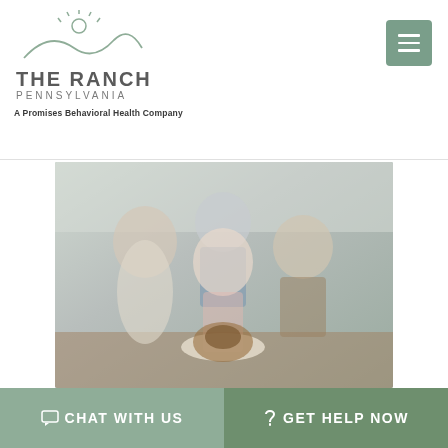[Figure (logo): The Ranch Pennsylvania logo with sun and hills illustration above text. 'THE RANCH' in large letters, 'PENNSYLVANIA' in spaced letters, 'A Promises Behavioral Health Company' tagline.]
[Figure (photo): Family of four smiling in a kitchen setting, holding a roasted turkey on a plate with garnish. Two older adults and two younger adults.]
CHAT WITH US
GET HELP NOW